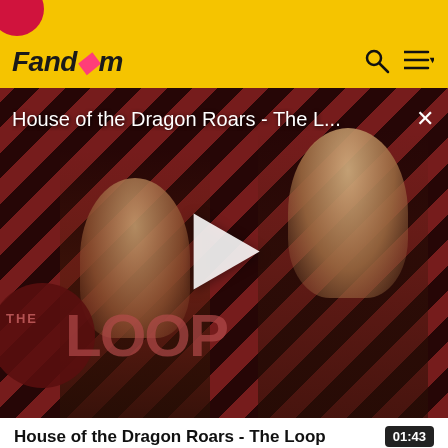Fandom
[Figure (screenshot): Video player showing House of the Dragon Roars - The Loop with diagonal red and dark stripe background, two characters visible, play button in center, THE LOOP logo overlay at bottom left]
House of the Dragon Roars - The Loop
self-limiting problems to chronic or long-lasting problems requiring life-time treatment. Cat skin disorders may be grouped into categories according to the causes.